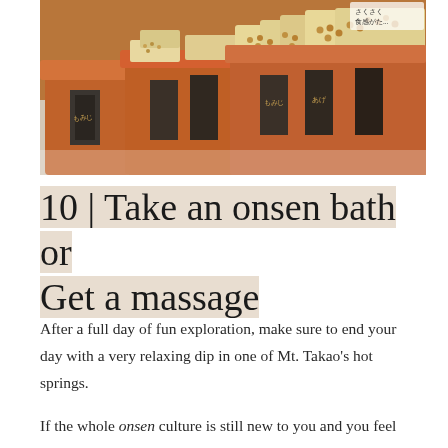[Figure (photo): Market stall scene showing tables draped in orange/rust-colored tablecloths with packaged snacks (nuts, crackers) displayed on them. Japanese text visible on signs and packaging.]
10 | Take an onsen bath or Get a massage
After a full day of fun exploration, make sure to end your day with a very relaxing dip in one of Mt. Takao's hot springs.
If the whole onsen culture is still new to you and you feel uncomfortable, you can get a massage instead.